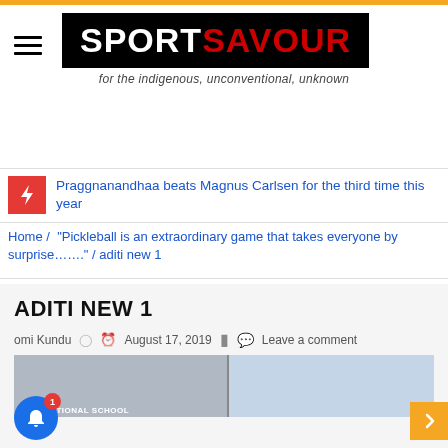SPORTSAVOUR — for the indigenous, unconventional, unknown
Praggnanandhaa beats Magnus Carlsen for the third time this year
Home / "Pickleball is an extraordinary game that takes everyone by surprise......." / aditi new 1
ADITI NEW 1
omi Kundu   August 17, 2019   Leave a comment